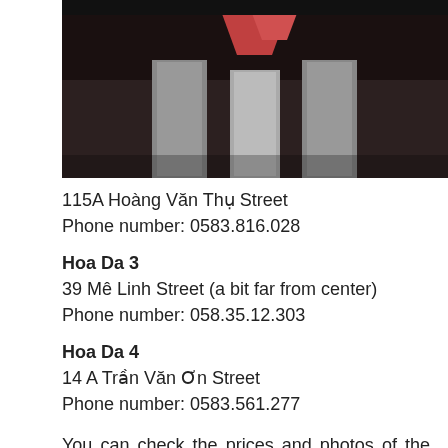[Figure (photo): Partial photo of a hotel or building interior/exterior with dark ceiling and structural elements visible]
115A Hoàng Văn Thụ Street
Phone number: 0583.816.028
Hoa Da 3
39 Mê Linh Street (a bit far from center)
Phone number: 058.35.12.303
Hoa Da 4
14 A Trần Văn Ơn Street
Phone number: 0583.561.277
You can check the prices and photos of the room on their website: Hoa Da Massage Plus Nha Trang. The same group also owns Hoa Dao Hotel, Karaoke and Spa which is a good option if you are looking for a girl-friendly hotel